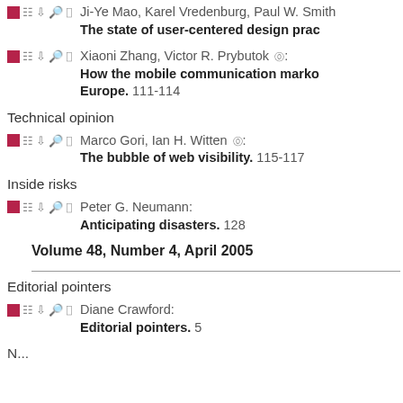Ji-Ye Mao, Karel Vredenburg, Paul W. Smith: The state of user-centered design prac...
Xiaoni Zhang, Victor R. Prybutok: How the mobile communication marko... Europe. 111-114
Technical opinion
Marco Gori, Ian H. Witten: The bubble of web visibility. 115-117
Inside risks
Peter G. Neumann: Anticipating disasters. 128
Volume 48, Number 4, April 2005
Editorial pointers
Diane Crawford: Editorial pointers. 5